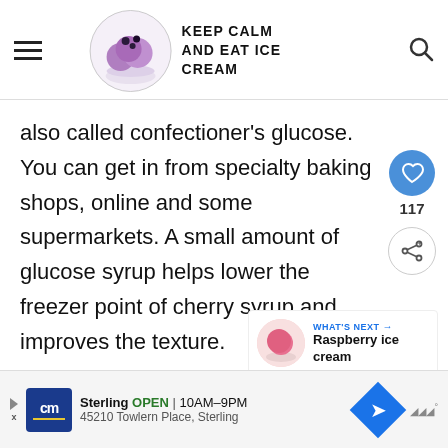KEEP CALM AND EAT ICE CREAM
also called confectioner's glucose. You can get in from specialty baking shops, online and some supermarkets. A small amount of glucose syrup helps lower the freezer point of cherry syrup and improves the texture.
117
WHAT'S NEXT → Raspberry ice cream
Sterling OPEN 10AM–9PM 45210 Towlern Place, Sterling